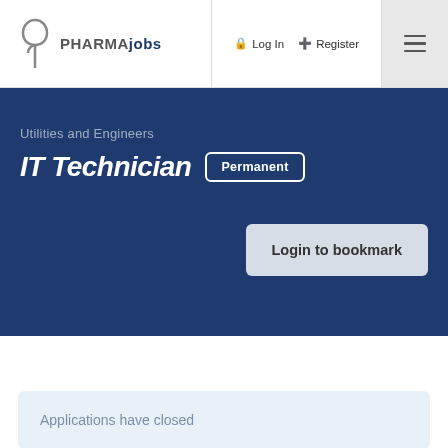PHARMAjobs | Log In | Register
Utilities and Engineers
IT Technician  Permanent
Login to bookmark
Applications have closed